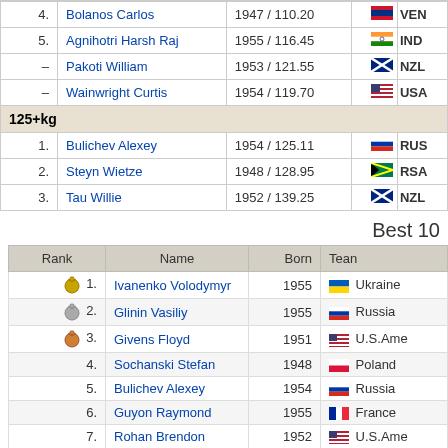| Rank | Name | Born / Weight | Flag | Country |
| --- | --- | --- | --- | --- |
| 4. | Bolanos Carlos | 1947 / 110.20 | VEN |
| 5. | Agnihotri Harsh Raj | 1955 / 116.45 | IND |
| – | Pakoti William | 1953 / 121.55 | NZL |
| – | Wainwright Curtis | 1954 / 119.70 | USA |
| 125+kg |  |  |  |
| 1. | Bulichev Alexey | 1954 / 125.11 | RUS |
| 2. | Steyn Wietze | 1948 / 128.95 | RSA |
| 3. | Tau Willie | 1952 / 139.25 | NZL |
Best 10
| Rank | Name | Born | Team |
| --- | --- | --- | --- |
| 🥇 1. | Ivanenko Volodymyr | 1955 | Ukraine |
| 🥈 2. | Glinin Vasiliy | 1955 | Russia |
| 🥉 3. | Givens Floyd | 1951 | U.S.Ame |
| 4. | Sochanski Stefan | 1948 | Poland |
| 5. | Bulichev Alexey | 1954 | Russia |
| 6. | Guyon Raymond | 1955 | France |
| 7. | Rohan Brendon | 1952 | U.S.Ame |
| 8. | White Arthur | 1951 | Great Br |
| 9. | Shishkin Vladimir | 1950 | Russia |
| 10. | Kavarnos James | 1955 | U.S.Ame |